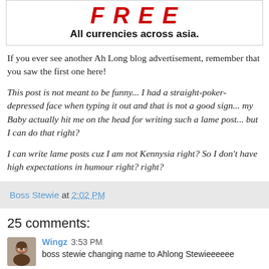[Figure (other): Advertisement banner showing bold red italic text logo and tagline 'All currencies across asia.' in black bold font]
If you ever see another Ah Long blog advertisement, remember that you saw the first one here!
This post is not meant to be funny... I had a straight-poker-depressed face when typing it out and that is not a good sign... my Baby actually hit me on the head for writing such a lame post... but I can do that right?
I can write lame posts cuz I am not Kennysia right? So I don't have high expectations in humour right? right?
Boss Stewie at 2:02 PM
25 comments:
Wingz 3:53 PM
boss stewie changing name to Ahlong Stewieeeeee